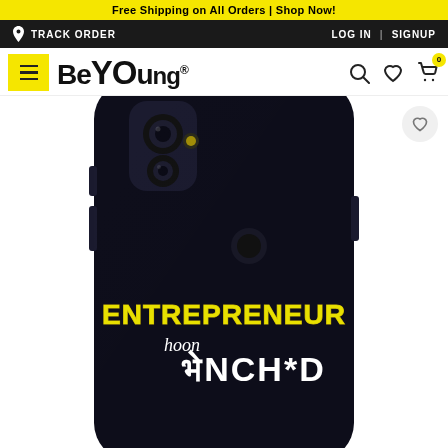Free Shipping on All Orders | Shop Now!
TRACK ORDER | LOG IN | SIGNUP
[Figure (logo): BeYoung logo with hamburger menu, search, heart and cart icons]
[Figure (photo): Black smartphone case with yellow text 'ENTREPRENEUR hoon भेNCH*D' printed on it]